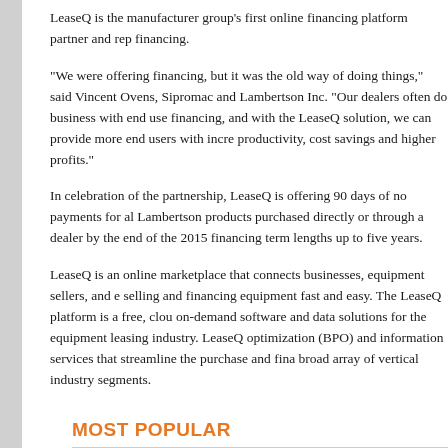LeaseQ is the manufacturer group’s first online financing platform partner and rep financing.
“We were offering financing, but it was the old way of doing things,” said Vincent Ovens, Sipromac and Lambertson Inc. “Our dealers often do business with end use financing, and with the LeaseQ solution, we can provide more end users with incre productivity, cost savings and higher profits.”
In celebration of the partnership, LeaseQ is offering 90 days of no payments for al Lambertson products purchased directly or through a dealer by the end of the 2015 financing term lengths up to five years.
LeaseQ is an online marketplace that connects businesses, equipment sellers, and e selling and financing equipment fast and easy. The LeaseQ platform is a free, clou on-demand software and data solutions for the equipment leasing industry. LeaseQ optimization (BPO) and information services that streamline the purchase and fina broad array of vertical industry segments.
MOST POPULAR